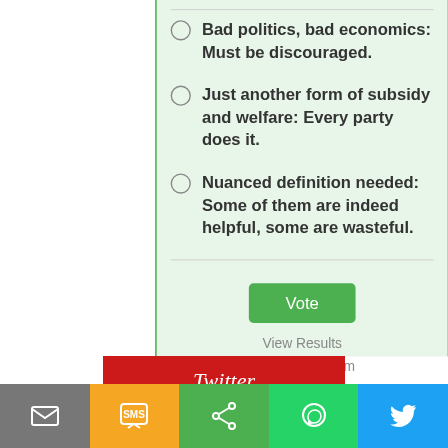Bad politics, bad economics: Must be discouraged.
Just another form of subsidy and welfare: Every party does it.
Nuanced definition needed: Some of them are indeed helpful, some are wasteful.
Vote
View Results
Crowdsignal.com
Twitter
Tweets from @governancenow